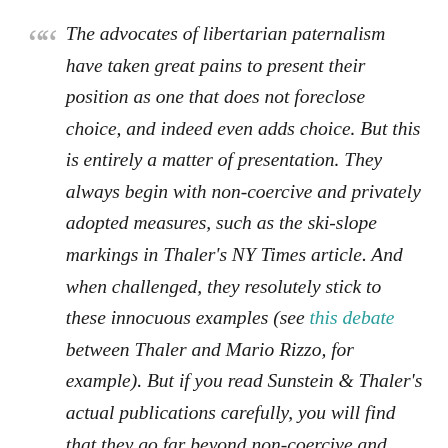The advocates of libertarian paternalism have taken great pains to present their position as one that does not foreclose choice, and indeed even adds choice. But this is entirely a matter of presentation. They always begin with non-coercive and privately adopted measures, such as the ski-slope markings in Thaler's NY Times article. And when challenged, they resolutely stick to these innocuous examples (see this debate between Thaler and Mario Rizzo, for example). But if you read Sunstein & Thaler's actual publications carefully, you will find that they go far beyond non-coercive and private measures. They consciously